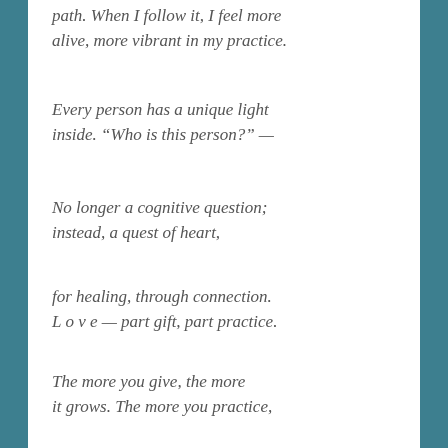path. When I follow it, I feel more alive, more vibrant in my practice.
Every person has a unique light inside. “Who is this person?” —
No longer a cognitive question; instead, a quest of heart,
for healing, through connection. L o v e — part gift, part practice.
The more you give, the more it grows. The more you practice,
the better it gets.
Notes from the interview that inspired this